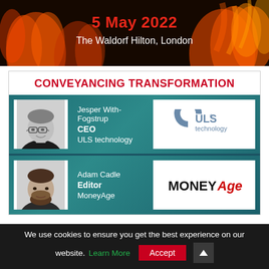[Figure (illustration): Dark background with orange/red fire flames texture banner showing '5 May 2022' in red and 'The Waldorf Hilton, London' in white]
CONVEYANCING TRANSFORMATION
[Figure (photo): Headshot of Jesper With-Fogstrup, CEO of ULS technology - male, glasses, dark top, greyscale photo]
Jesper With-Fogstrup
CEO
ULS technology
[Figure (logo): ULS technology logo - grey arc/C shape with 'ULS technology' text]
[Figure (photo): Headshot of Adam Cadle, Editor of MoneyAge - male, beard, dark clothing]
Adam Cadle
Editor
MoneyAge
[Figure (logo): MONEYAge logo in bold black and red text]
We use cookies to ensure you get the best experience on our website. Learn More  Accept